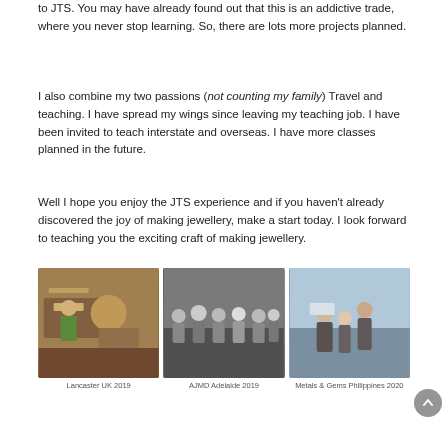to JTS. You may have already found out that this is an addictive trade, where you never stop learning. So, there are lots more projects planned.
I also combine my two passions (not counting my family) Travel and teaching. I have spread my wings since leaving my teaching job. I have been invited to teach interstate and overseas. I have more classes planned in the future.
Well I hope you enjoy the JTS experience and if you haven't already discovered the joy of making jewellery, make a start today. I look forward to teaching you the exciting craft of making jewellery.
Cheers Peter
[Figure (photo): Three photos in a row: (1) Lancaster UK 2019 - person working at a bench with jewellery tools, (2) AJMD Adelaide 2019 - group photo of people standing and sitting indoors, (3) Metals & Gems Philippines 2020 - people working closely in a bright room.]
Lancaster UK 2019
AJMD Adelaide 2019
Metals & Gems Philippines 2020